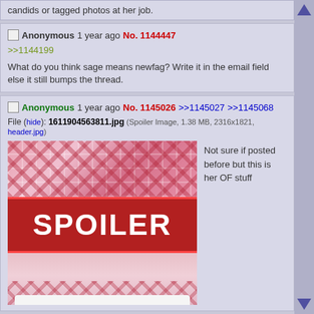candids or tagged photos at her job.
Anonymous 1 year ago No. 1144447
>>1144199
What do you think sage means newfag? Write it in the email field else it still bumps the thread.
Anonymous 1 year ago No. 1145026 >>1145027 >>1145068
File (hide): 1611904563811.jpg (Spoiler Image, 1.38 MB, 2316x1821, header.jpg)
Not sure if posted before but this is her OF stuff
[Figure (photo): Spoiler image showing a pink plaid skirt photo with a red SPOILER banner overlay covering the middle portion]
Anonymous 1 year ago No.